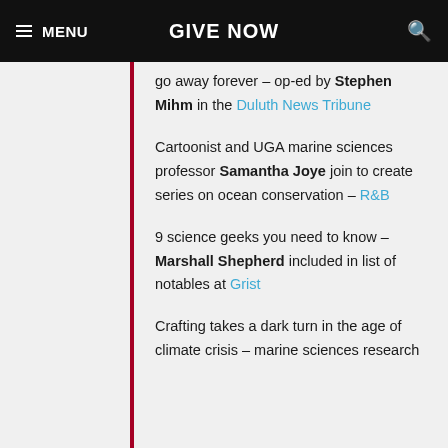MENU | GIVE NOW
go away forever – op-ed by Stephen Mihm in the Duluth News Tribune
Cartoonist and UGA marine sciences professor Samantha Joye join to create series on ocean conservation – R&B
9 science geeks you need to know – Marshall Shepherd included in list of notables at Grist
Crafting takes a dark turn in the age of climate crisis – marine sciences research